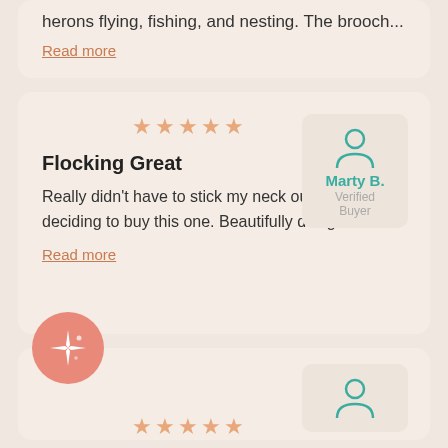herons flying, fishing, and nesting. The brooch...
Read more
[Figure (other): Five orange star rating icons]
[Figure (other): Teal user avatar icon with reviewer name Marty B., Verified Buyer label]
Flocking Great
Really didn't have to stick my neck out when deciding to buy this one. Beautifully designed...
Read more
[Figure (illustration): Pink/salmon circle with sparkle/star burst icon]
[Figure (other): Five orange star rating icons]
[Figure (other): Teal user avatar icon (partially visible)]